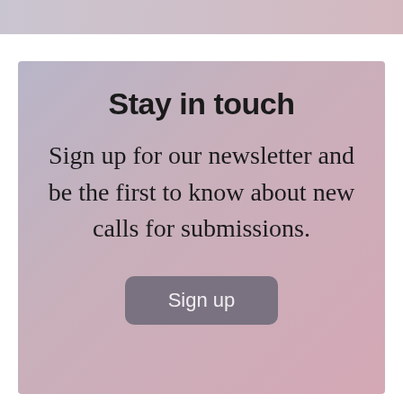Stay in touch
Sign up for our newsletter and be the first to know about new calls for submissions.
Sign up